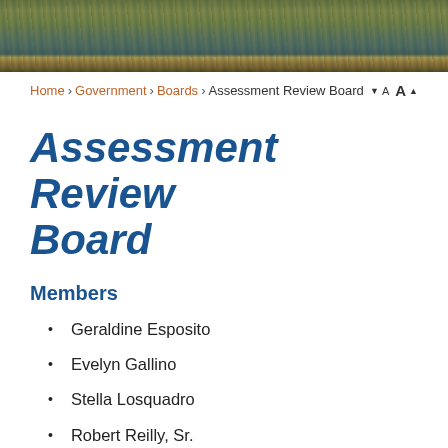[Figure (photo): Landscape photo of wetlands/marsh area with grasses, water, and autumn foliage colors]
Home › Government › Boards › Assessment Review Board
Assessment Review Board
Members
Geraldine Esposito
Evelyn Gallino
Stella Losquadro
Robert Reilly, Sr.
Alfred Walter